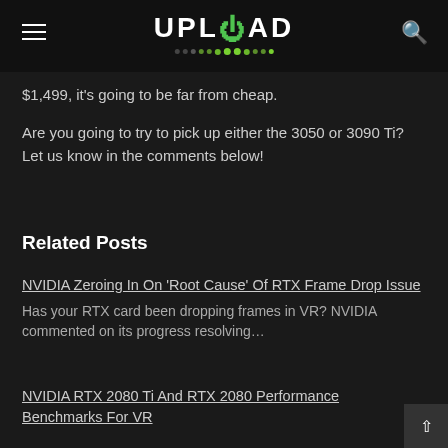UPLOAD
$1,499, it's going to be far from cheap.
Are you going to try to pick up either the 3050 or 3090 Ti? Let us know in the comments below!
Related Posts
NVIDIA Zeroing In On 'Root Cause' Of RTX Frame Drop Issue
Has your RTX card been dropping frames in VR? NVIDIA commented on its progress resolving…
NVIDIA RTX 2080 Ti And RTX 2080 Performance Benchmarks For VR